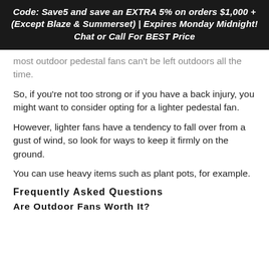Code: Save5 and save an EXTRA 5% on orders $1,000 + (Except Blaze & Summerset) | Expires Monday Midnight! Chat or Call For BEST Price
most outdoor pedestal fans can't be left outdoors all the time.
So, if you're not too strong or if you have a back injury, you might want to consider opting for a lighter pedestal fan.
However, lighter fans have a tendency to fall over from a gust of wind, so look for ways to keep it firmly on the ground.
You can use heavy items such as plant pots, for example.
Frequently Asked Questions
Are Outdoor Fans Worth It?